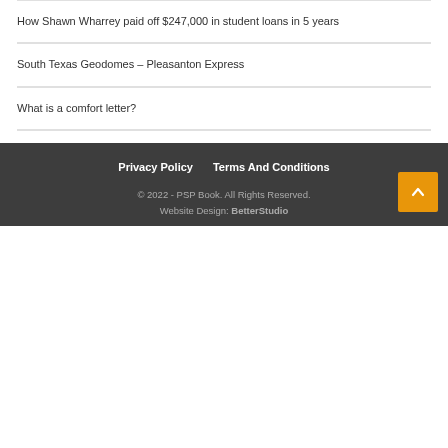How Shawn Wharrey paid off $247,000 in student loans in 5 years
South Texas Geodomes – Pleasanton Express
What is a comfort letter?
Titanic shipyard takes out $70m high-interest loan amid cash crunch
Recent Comments
Privacy Policy   Terms And Conditions
© 2022 - PSP Book. All Rights Reserved.
Website Design: BetterStudio